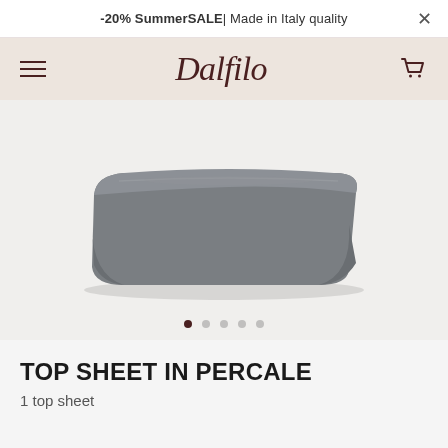-20% SummerSALE| Made in Italy quality ×
Dalfilo
[Figure (photo): A folded grey percale top sheet photographed on a light background, shown as a neatly folded rectangular bundle with rounded corners and subtle fabric texture. Below the image are five carousel navigation dots, the first dot filled dark indicating the current slide.]
TOP SHEET IN PERCALE
1 top sheet